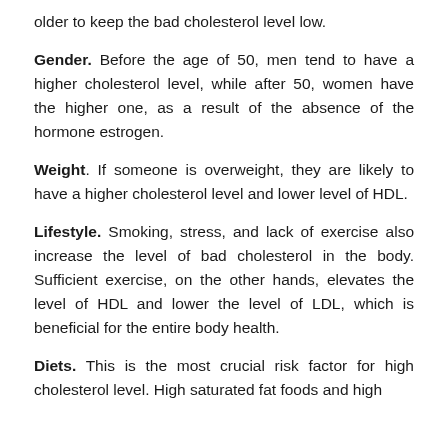older to keep the bad cholesterol level low.
Gender. Before the age of 50, men tend to have a higher cholesterol level, while after 50, women have the higher one, as a result of the absence of the hormone estrogen.
Weight. If someone is overweight, they are likely to have a higher cholesterol level and lower level of HDL.
Lifestyle. Smoking, stress, and lack of exercise also increase the level of bad cholesterol in the body. Sufficient exercise, on the other hands, elevates the level of HDL and lower the level of LDL, which is beneficial for the entire body health.
Diets. This is the most crucial risk factor for high cholesterol level. High saturated fat foods and high